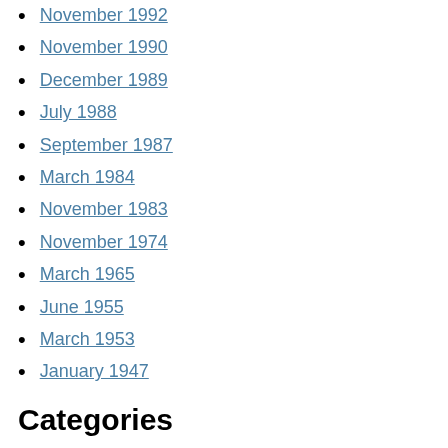November 1992
November 1990
December 1989
July 1988
September 1987
March 1984
November 1983
November 1974
March 1965
June 1955
March 1953
January 1947
Categories
:DUMPLING design
1SE
20th Century Fox Film
2K